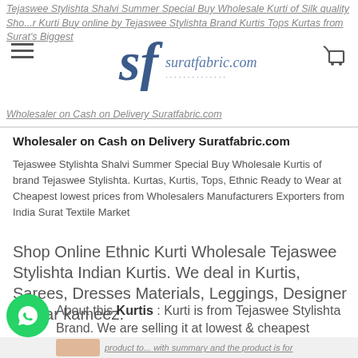Tejaswee Stylishta Shalvi Summer Special Buy Wholesale Kurti of Silk quality Shop ... Kurti Buy online by Tejaswee Stylishta Brand Kurtis Tops Kurtas from Surat's Biggest Wholesaler on Cash on Delivery Suratfabric.com
Wholesaler on Cash on Delivery Suratfabric.com
Tejaswee Stylishta Shalvi Summer Special Buy Wholesale Kurtis of brand Tejaswee Stylishta. Kurtas, Kurtis, Tops, Ethnic Ready to Wear at Cheapest lowest prices from Wholesalers Manufacturers Exporters from India Surat Textile Market
Shop Online Ethnic Kurti Wholesale Tejaswee Stylishta Indian Kurtis. We deal in Kurtis, Sarees, Dresses Materials, Leggings, Designer salwar kameez.
About this Kurtis : Kurti is from Tejaswee Stylishta Brand. We are selling it at lowest & cheapest wholesale prices. It's made of Silk qualities. The product to...